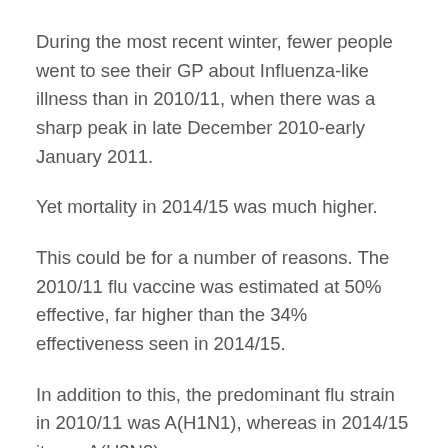During the most recent winter, fewer people went to see their GP about Influenza-like illness than in 2010/11, when there was a sharp peak in late December 2010-early January 2011.
Yet mortality in 2014/15 was much higher.
This could be for a number of reasons. The 2010/11 flu vaccine was estimated at 50% effective, far higher than the 34% effectiveness seen in 2014/15.
In addition to this, the predominant flu strain in 2010/11 was A(H1N1), whereas in 2014/15 it was A(H3N2).